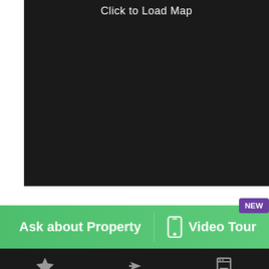[Figure (map): Dark map placeholder area with text 'Click to Load Map' at the top center]
NEW
Ask about Property
[Figure (other): Phone icon for Video Tour]
Video Tour
[Figure (other): Bottom toolbar with star icon, share/forward icon, and print icon on dark background]